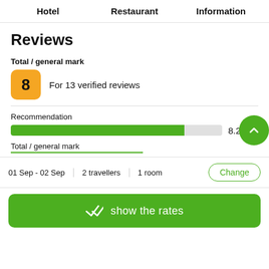Hotel   Restaurant   Information
Reviews
Total / general mark
8   For 13 verified reviews
Recommendation
8.2/10
Total / general mark
01 Sep - 02 Sep   2 travellers   1 room   Change
show the rates